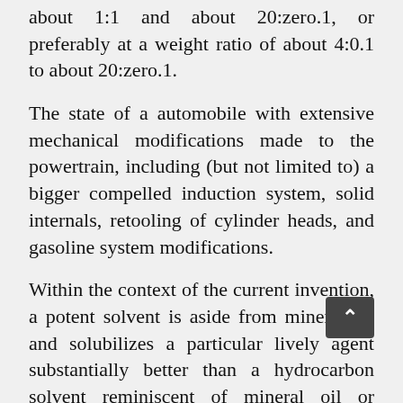about 1:1 and about 20:zero.1, or preferably at a weight ratio of about 4:0.1 to about 20:zero.1.
The state of a automobile with extensive mechanical modifications made to the powertrain, including (but not limited to) a bigger compelled induction system, solid internals, retooling of cylinder heads, and gasoline system modifications.
Within the context of the current invention, a potent solvent is aside from mineral oil and solubilizes a particular lively agent substantially better than a hydrocarbon solvent reminiscent of mineral oil or petrolatum, for example, 5.